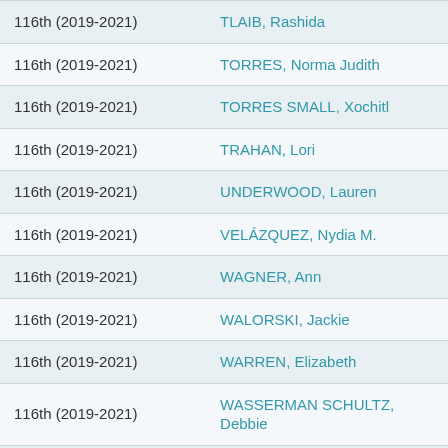| Congress | Name |
| --- | --- |
| 116th (2019-2021) | TLAIB, Rashida |
| 116th (2019-2021) | TORRES, Norma Judith |
| 116th (2019-2021) | TORRES SMALL, Xochitl |
| 116th (2019-2021) | TRAHAN, Lori |
| 116th (2019-2021) | UNDERWOOD, Lauren |
| 116th (2019-2021) | VELÁZQUEZ, Nydia M. |
| 116th (2019-2021) | WAGNER, Ann |
| 116th (2019-2021) | WALORSKI, Jackie |
| 116th (2019-2021) | WARREN, Elizabeth |
| 116th (2019-2021) | WASSERMAN SCHULTZ, Debbie |
| 116th (2019-2021) | WATERS, Maxine |
| 116th (2019-2021) | WATSON COLEMAN, Bonnie |
| 116th (2019-2021) | WEXTON, Jennifer (partial) |